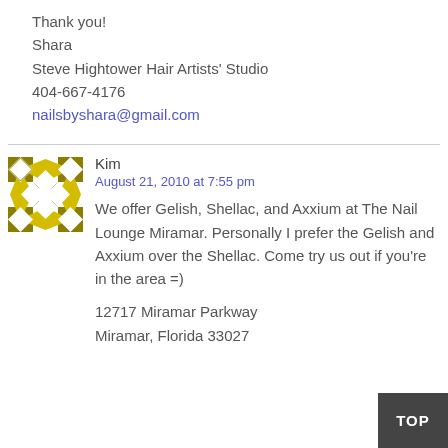Thank you!
Shara
Steve Hightower Hair Artists' Studio
404-667-4176
nailsbyshara@gmail.com
Kim
August 21, 2010 at 7:55 pm
We offer Gelish, Shellac, and Axxium at The Nail Lounge Miramar. Personally I prefer the Gelish and Axxium over the Shellac. Come try us out if you're in the area =)
12717 Miramar Parkway
Miramar, Florida 33027